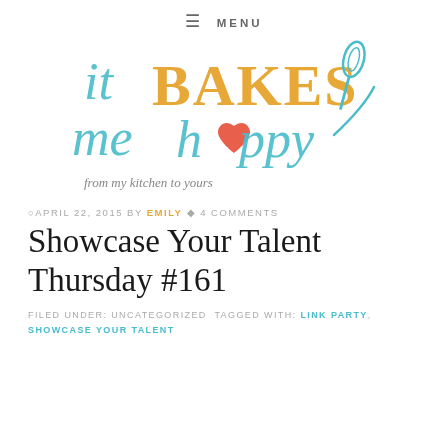≡ MENU
[Figure (logo): It Bakes Me Happy blog logo — teal script text 'it' and 'me happy', yellow block letters 'BAKES', coral/pink heart replacing the 'o' in 'happy', teal whisk illustration, tagline 'from my kitchen to yours']
APRIL 22, 2015 BY EMILY · 4 COMMENTS
Showcase Your Talent Thursday #161
FILED UNDER: UNCATEGORIZED TAGGED WITH: LINK PARTY, SHOWCASE YOUR TALENT